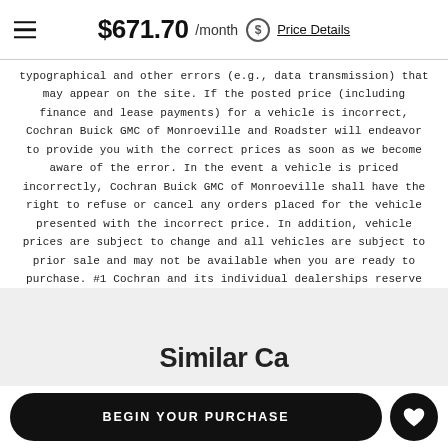$671.70 /month Price Details
typographical and other errors (e.g., data transmission) that may appear on the site. If the posted price (including finance and lease payments) for a vehicle is incorrect, Cochran Buick GMC of Monroeville and Roadster will endeavor to provide you with the correct prices as soon as we become aware of the error. In the event a vehicle is priced incorrectly, Cochran Buick GMC of Monroeville shall have the right to refuse or cancel any orders placed for the vehicle presented with the incorrect price. In addition, vehicle prices are subject to change and all vehicles are subject to prior sale and may not be available when you are ready to purchase. #1 Cochran and its individual dealerships reserve the right to refuse an at-home test-drive or delivery at its absolute discretion.
Similar Ca...
BEGIN YOUR PURCHASE